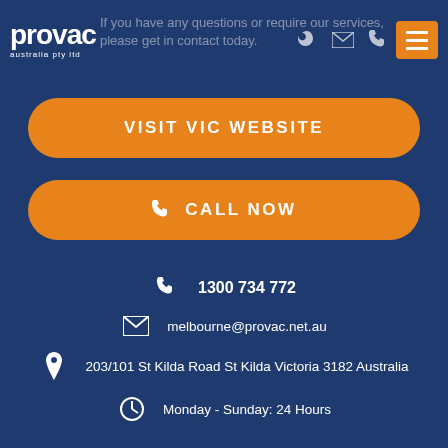[Figure (logo): Provac Australia Pty Ltd logo — white text on dark blue background]
If you have any questions or require our services, please get in contact today.
VISIT VIC WEBSITE
CALL NOW
1300 734 772
melbourne@provac.net.au
203/101 St Kilda Road St Kilda Victoria 3182 Australia
Monday - Sunday: 24 Hours